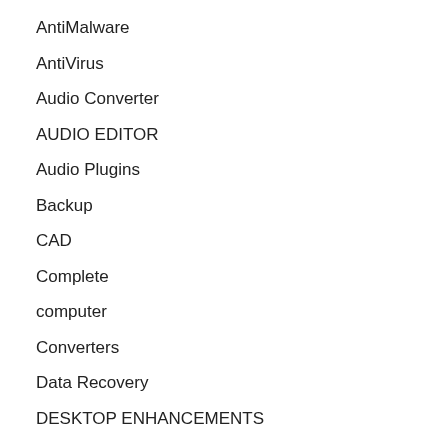AntiMalware
AntiVirus
Audio Converter
AUDIO EDITOR
Audio Plugins
Backup
CAD
Complete
computer
Converters
Data Recovery
DESKTOP ENHANCEMENTS
Disk Burner